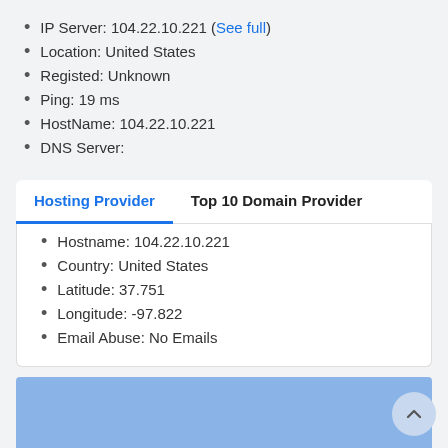IP Server: 104.22.10.221 (See full)
Location: United States
Registed: Unknown
Ping: 19 ms
HostName: 104.22.10.221
DNS Server:
Hosting Provider | Top 10 Domain Provider
Hostname: 104.22.10.221
Country: United States
Latitude: 37.751
Longitude: -97.822
Email Abuse: No Emails
[Figure (map): Blue map area placeholder]